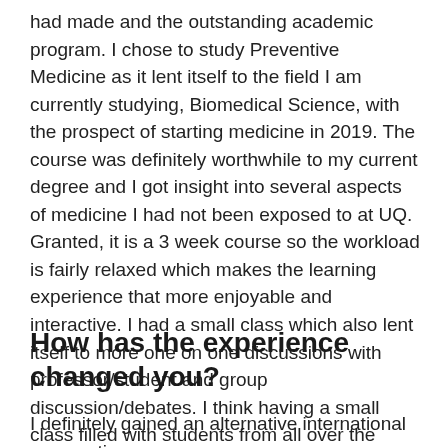had made and the outstanding academic program. I chose to study Preventive Medicine as it lent itself to the field I am currently studying, Biomedical Science, with the prospect of starting medicine in 2019. The course was definitely worthwhile to my current degree and I got insight into several aspects of medicine I had not been exposed to at UQ. Granted, it is a 3 week course so the workload is fairly relaxed which makes the learning experience that more enjoyable and interactive. I had a small class which also lent itself to more one on one discussions with professor/student and group discussion/debates. I think having a small class filled with students from all over the world has to be my favourite aspect while studying in Exeter.
How has the experience changed you?
I definitely gained an alternative international perspective